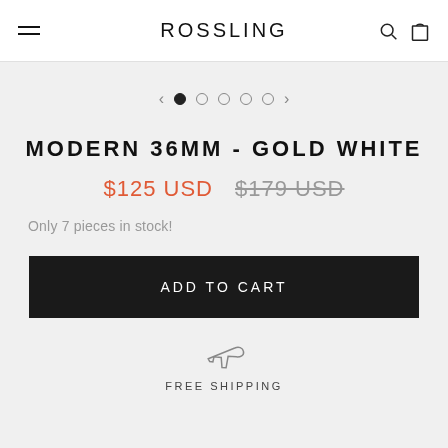ROSSLING
[Figure (other): Carousel navigation dots with left and right arrows. One filled dot and four empty dots indicating image slideshow position.]
MODERN 36MM - GOLD WHITE
$125 USD  $179 USD
Only 7 pieces in stock!
ADD TO CART
[Figure (illustration): Airplane/plane icon indicating free shipping]
FREE SHIPPING